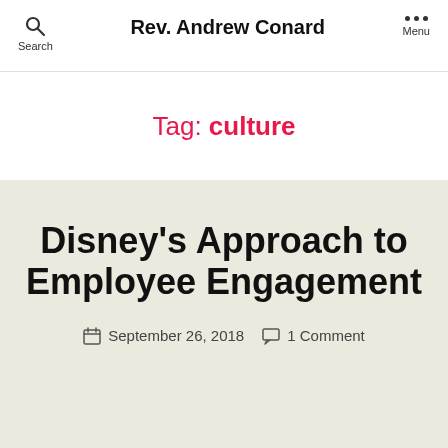Rev. Andrew Conard
Tag: culture
Disney's Approach to Employee Engagement
September 26, 2018   1 Comment